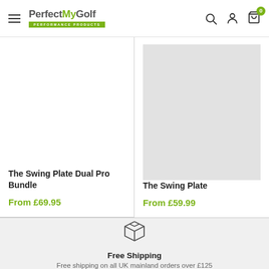PerfectMyGolf - Performance Products
The Swing Plate Dual Pro Bundle
From £69.95
The Swing Plate
From £59.99
Free Shipping
Free shipping on all UK mainland orders over £125